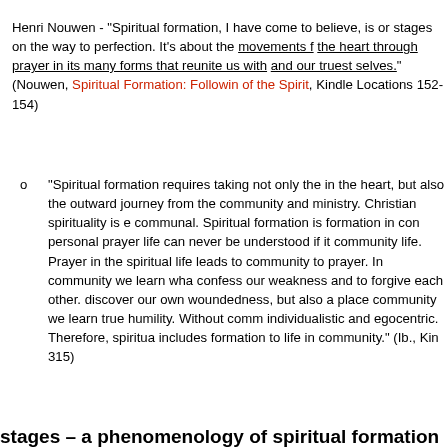Henri Nouwen - "Spiritual formation, I have come to believe, is not a program or stages on the way to perfection. It's about the movements from the mind to the heart through prayer in its many forms that reunite us with God, with others, and our truest selves." (Nouwen, Spiritual Formation: Following the Movements of the Spirit, Kindle Locations 152-154)
"Spiritual formation requires taking not only the inward journey to the heart, but also the outward journey from the heart to community and ministry. Christian spirituality is essentially communal. Spiritual formation is formation in community, a personal prayer life can never be understood if it is divorced from community life. Prayer in the spiritual life leads to community and community to prayer. In community we learn what it means to confess our weakness and to forgive each other. Community is a place to discover our own woundedness, but also a place of healing. In community we learn true humility. Without community, prayer becomes individualistic and egocentric. Therefore, spiritual formation always includes formation to life in community." (Ib., Kindle Locations 313-315)
stages – a phenomenology of spiritual formation